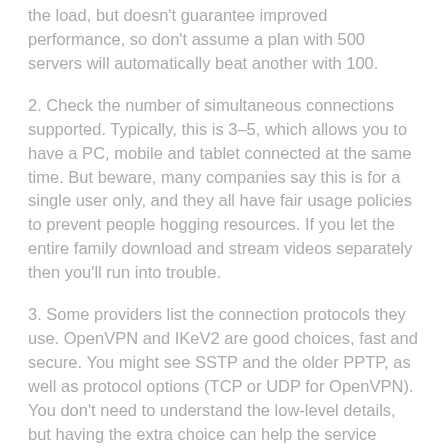the load, but doesn't guarantee improved performance, so don't assume a plan with 500 servers will automatically beat another with 100.
2. Check the number of simultaneous connections supported. Typically, this is 3–5, which allows you to have a PC, mobile and tablet connected at the same time. But beware, many companies say this is for a single user only, and they all have fair usage policies to prevent people hogging resources. If you let the entire family download and stream videos separately then you'll run into trouble.
3. Some providers list the connection protocols they use. OpenVPN and IKeV2 are good choices, fast and secure. You might see SSTP and the older PPTP, as well as protocol options (TCP or UDP for OpenVPN). You don't need to understand the low-level details, but having the extra choice can help the service make faster and/or more reliable connections.
4. All VPN companies say they don't log whatever you're doing online, but inevitably they collect a little data. Some services record